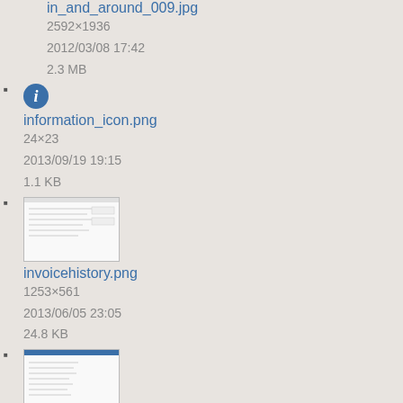in_and_around_009.jpg
2592×1936
2012/03/08 17:42
2.3 MB
information_icon.png
24×23
2013/09/19 19:15
1.1 KB
invoicehistory.png
1253×561
2013/06/05 23:05
24.8 KB
invoicesandpayments.png
678×337
2013/04/08 17:24